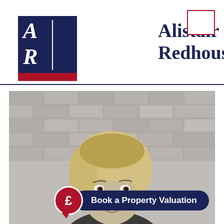[Figure (logo): Alistair Redhouse company logo with stylized AR letters in white on dark navy background with red bottom stripe]
Alistair Redhouse
[Figure (photo): Black and white photo of a blonde woman in front of a brick wall, with a red pound sign speech bubble and a navy 'Book a Property Valuation' call-to-action button overlaid at the bottom]